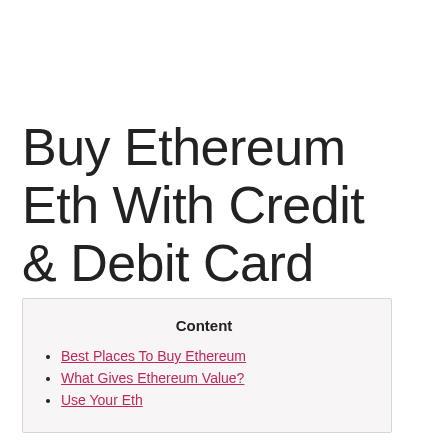Buy Ethereum Eth With Credit & Debit Card Instantly
Content
Best Places To Buy Ethereum
What Gives Ethereum Value?
Use Your Eth